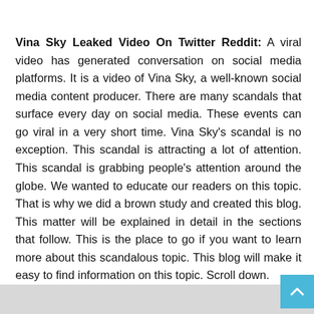Vina Sky Leaked Video On Twitter Reddit: A viral video has generated conversation on social media platforms. It is a video of Vina Sky, a well-known social media content producer. There are many scandals that surface every day on social media. These events can go viral in a very short time. Vina Sky's scandal is no exception. This scandal is attracting a lot of attention. This scandal is grabbing people's attention around the globe. We wanted to educate our readers on this topic. That is why we did a brown study and created this blog. This matter will be explained in detail in the sections that follow. This is the place to go if you want to learn more about this scandalous topic. This blog will make it easy to find information on this topic. Scroll down.
[Figure (other): Gray bar at the bottom of the page with a cyan/teal scroll-to-top button on the right side containing an upward chevron arrow.]